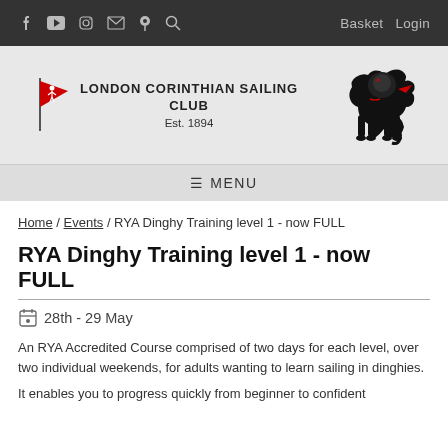f [YouTube] [Instagram] [Email] [Location] [Search]   Basket  Login
[Figure (logo): London Corinthian Sailing Club logo with red flag and lion emblem. Text: LONDON CORINTHIAN SAILING CLUB Est. 1894]
≡ MENU
Home / Events / RYA Dinghy Training level 1 - now FULL
RYA Dinghy Training level 1 - now FULL
28th - 29 May
An RYA Accredited Course comprised of two days for each level, over two individual weekends, for adults wanting to learn sailing in dinghies.
It enables you to progress quickly from beginner to confident